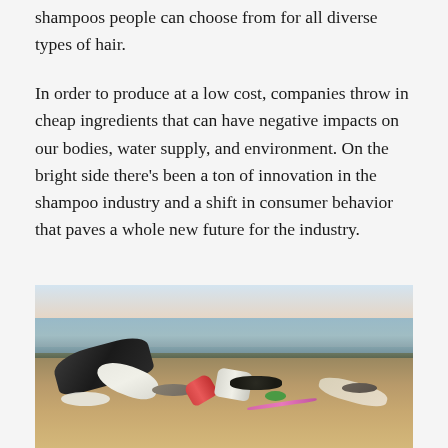shampoos people can choose from for all diverse types of hair.
In order to produce at a low cost, companies throw in cheap ingredients that can have negative impacts on our bodies, water supply, and environment. On the bright side there's been a ton of innovation in the shampoo industry and a shift in consumer behavior that paves a whole new future for the industry.
[Figure (photo): A photograph of a polluted beach with various plastic waste and trash items scattered on the sand near the water's edge. Visible items include plastic bottles, a pink toothbrush, foam pieces, dark plastic bags, and other debris, with the ocean and sky visible in the background.]